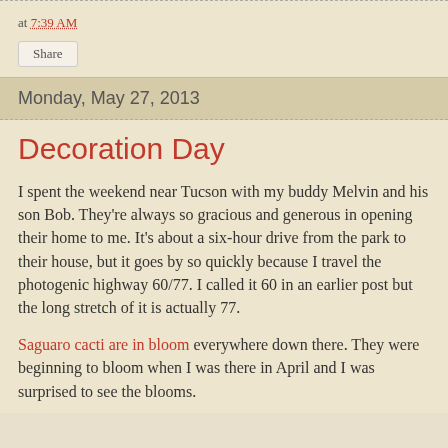at 7:39 AM
Share
Monday, May 27, 2013
Decoration Day
I spent the weekend near Tucson with my buddy Melvin and his son Bob. They're always so gracious and generous in opening their home to me. It's about a six-hour drive from the park to their house, but it goes by so quickly because I travel the photogenic highway 60/77. I called it 60 in an earlier post but the long stretch of it is actually 77.
Saguaro cacti are in bloom everywhere down there. They were beginning to bloom when I was there in April and I was surprised to see the blooms.